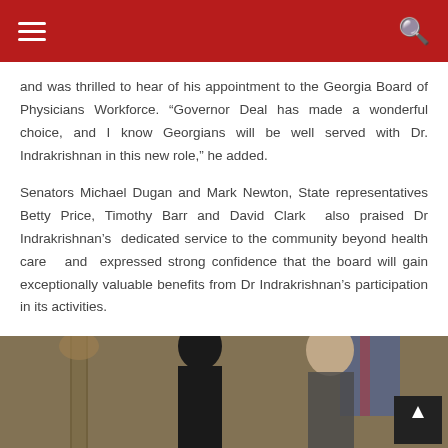Navigation header bar with hamburger menu and search icon
and was thrilled to hear of his appointment to the Georgia Board of Physicians Workforce. “Governor Deal has made a wonderful choice, and I know Georgians will be well served with Dr. Indrakrishnan in this new role,” he added.
Senators Michael Dugan and Mark Newton, State representatives Betty Price, Timothy Barr and David Clark also praised Dr Indrakrishnan’s dedicated service to the community beyond health care and expressed strong confidence that the board will gain exceptionally valuable benefits from Dr Indrakrishnan’s participation in its activities.
[Figure (photo): Photo of two men standing together in a formal indoor setting with wooden paneling and a flag visible in the background.]